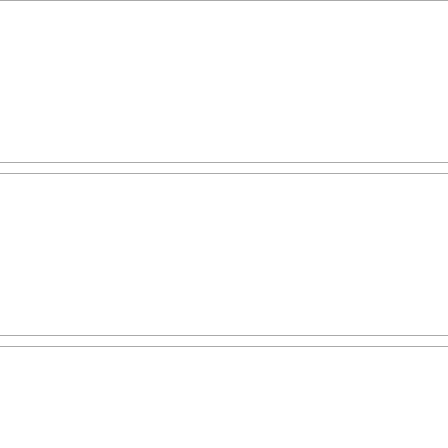[Figure (photo): Safe/vault icon image for NeoBook Professional]
NeoBook Profes...
[ Software> Developmen...
Professional application b... catalogs, kiosks, educati...
[ Full description... ]
[Figure (photo): Safe/vault icon image for NeoPaint 4.6c]
NeoPaint 4.6c
[ Software> Graphic App...
Powerful Windows paint/... photo retouching tools, n...
[ Full description... ]
[Figure (photo): Safe/vault icon image for Sothink Video Encoder]
Sothink Video En...
[ Software> Audio & Mult...
Sothink Video Encoder fo... flash video encoder help...
[ Full description... ]
[Figure (photo): Safe/vault icon image for Tansee iPod Copy]
Tansee iPod Cop...
[ Software> Audio & Mult...